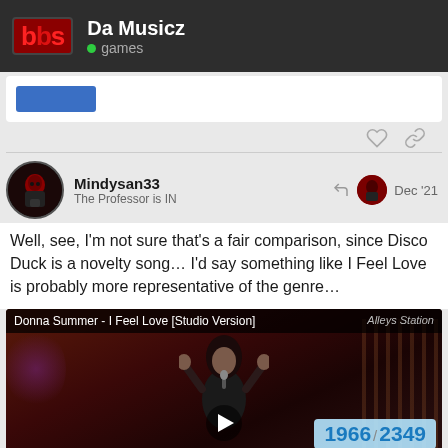Da Musicz — games
Well, see, I'm not sure that's a fair comparison, since Disco Duck is a novelty song… I'd say something like I Feel Love is probably more representative of the genre…
[Figure (screenshot): YouTube video embed showing Donna Summer - I Feel Love [Studio Version] with a view counter showing 1966 / 2349 and a play button overlay]
Mindysan33 — The Professor is IN — Dec '21